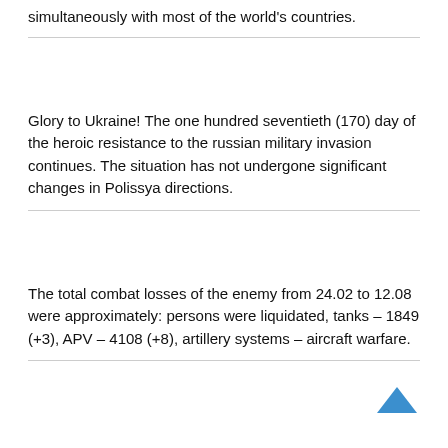simultaneously with most of the world's countries.
Glory to Ukraine! The one hundred seventieth (170) day of the heroic resistance to the russian military invasion continues. The situation has not undergone significant changes in Polissya directions.
The total combat losses of the enemy from 24.02 to 12.08 were approximately: persons were liquidated, tanks – 1849 (+3), APV – 4108 (+8), artillery systems – aircraft warfare.
[Figure (other): Blue upward-pointing chevron/arrow icon in the bottom-right corner]